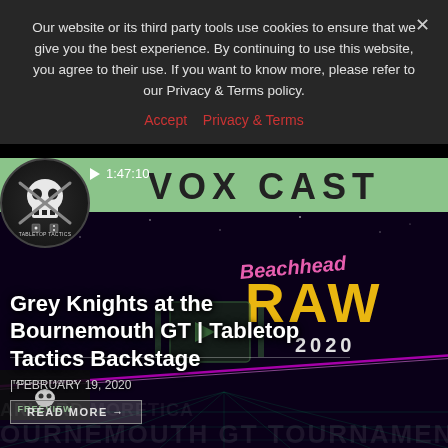Our website or its third party tools use cookies to ensure that we give you the best experience. By continuing to use this website, you agree to their use. If you want to know more, please refer to our Privacy & Terms policy.
Accept  Privacy & Terms
[Figure (screenshot): Tabletop Tactics Freeview website screenshot showing a VOX CAST video thumbnail. The thumbnail shows 'Grey Knights at the Bournemouth GT | Tabletop Tactics Backstage' dated February 19, 2020, with a Beachhead RAW 2020 logo/event graphic in the background. Duration shown as 1:47:10. A 'READ MORE' button is visible. The background shows a neon retro-style graphic with purple/pink laser lines and grid.]